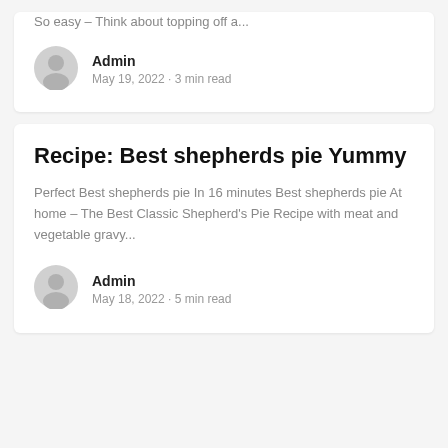So easy – Think about topping off a...
Admin
May 19, 2022 · 3 min read
Recipe: Best shepherds pie Yummy
Perfect Best shepherds pie In 16 minutes Best shepherds pie At home – The Best Classic Shepherd's Pie Recipe with meat and vegetable gravy...
Admin
May 18, 2022 · 5 min read